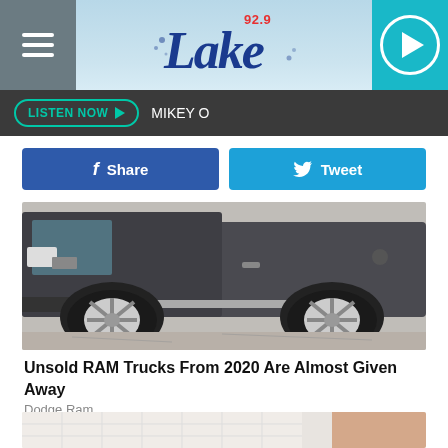92.9 The Lake — LISTEN NOW • MIKEY O
[Figure (screenshot): Dark grey truck (RAM pickup) photographed in a parking lot, side profile view showing wheels and running boards]
Unsold RAM Trucks From 2020 Are Almost Given Away
Dodge Ram
[Figure (photo): Close-up of a white mattress surface with a person's arm/hand visible]